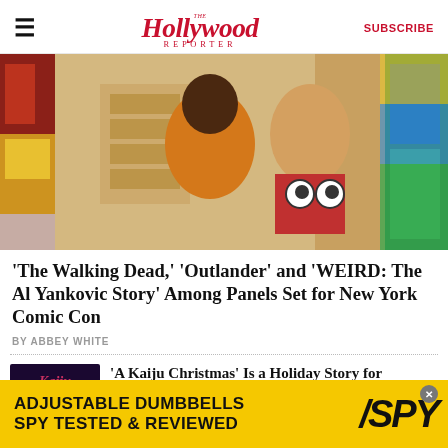The Hollywood Reporter | SUBSCRIBE
[Figure (photo): Woman in orange floral dress laughing with a person in a furry costume lifting their shirt to reveal large googly eyes painted on their belly, surrounded by colorful Hawaiian shirts on clothing racks]
'The Walking Dead,' 'Outlander' and 'WEIRD: The Al Yankovic Story' Among Panels Set for New York Comic Con
BY ABBEY WHITE
[Figure (photo): Book cover for 'A Kaiju Christmas' with stylized red text on dark purple/blue background with monster imagery]
'A Kaiju Christmas' Is a Holiday Story for Monster Lovers
BY AARON COUCH
[Figure (infographic): Advertisement banner: ADJUSTABLE DUMBBELLS SPY TESTED & REVIEWED with SPY logo on yellow background]